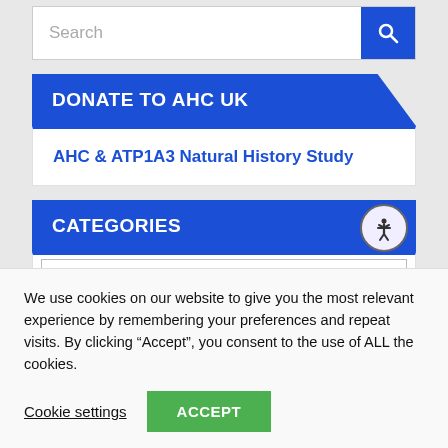[Figure (screenshot): Search bar with text input placeholder 'Search' and a blue search button with magnifying glass icon]
DONATE TO AHC UK
AHC & ATP1A3 Natural History Study
CATEGORIES
We use cookies on our website to give you the most relevant experience by remembering your preferences and repeat visits. By clicking “Accept”, you consent to the use of ALL the cookies.
Cookie settings
ACCEPT